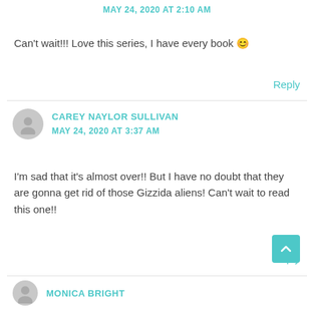MAY 24, 2020 AT 2:10 AM
Can't wait!!! Love this series, I have every book 😊
Reply
CAREY NAYLOR SULLIVAN
MAY 24, 2020 AT 3:37 AM
I'm sad that it's almost over!! But I have no doubt that they are gonna get rid of those Gizzida aliens! Can't wait to read this one!!
Reply
MONICA BRIGHT